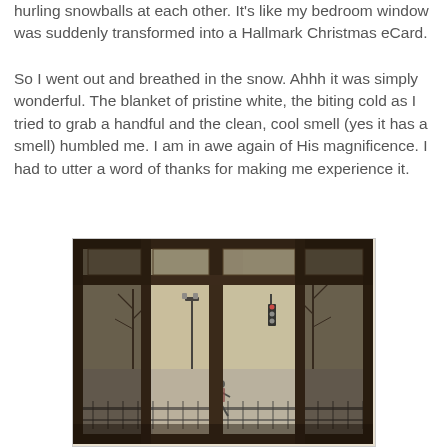hurling snowballs at each other. It's like my bedroom window was suddenly transformed into a Hallmark Christmas eCard.
So I went out and breathed in the snow. Ahhh it was simply wonderful. The blanket of pristine white, the biting cold as I tried to grab a handful and the clean, cool smell (yes it has a smell) humbled me. I am in awe again of His magnificence. I had to utter a word of thanks for making me experience it.
[Figure (photo): A dark interior view looking out through a bay window with wooden frames. Outside is a snowy winter scene with bare trees, a street lamp, a traffic light, and a person walking. The scene has a warm sepia/yellowish tint through the glass.]